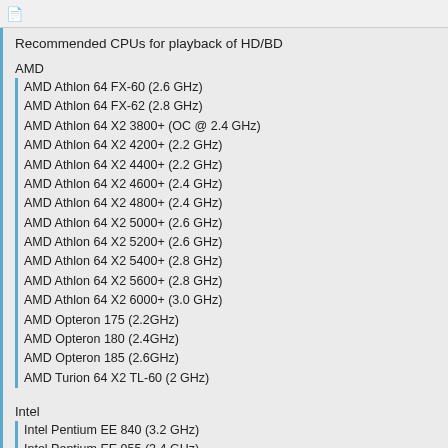Recommended CPUs for playback of HD/BD
AMD
AMD Athlon 64 FX-60 (2.6 GHz)
AMD Athlon 64 FX-62 (2.8 GHz)
AMD Athlon 64 X2 3800+ (OC @ 2.4 GHz)
AMD Athlon 64 X2 4200+ (2.2 GHz)
AMD Athlon 64 X2 4400+ (2.2 GHz)
AMD Athlon 64 X2 4600+ (2.4 GHz)
AMD Athlon 64 X2 4800+ (2.4 GHz)
AMD Athlon 64 X2 5000+ (2.6 GHz)
AMD Athlon 64 X2 5200+ (2.6 GHz)
AMD Athlon 64 X2 5400+ (2.8 GHz)
AMD Athlon 64 X2 5600+ (2.8 GHz)
AMD Athlon 64 X2 6000+ (3.0 GHz)
AMD Opteron 175 (2.2GHz)
AMD Opteron 180 (2.4GHz)
AMD Opteron 185 (2.6GHz)
AMD Turion 64 X2 TL-60 (2 GHz)
Intel
Intel Pentium EE 840 (3.2 GHz)
Intel Pentium EE 955 (3.4 GHz)
Intel Pentium D 945 (3.4 GHz)
Intel Pentium D 950 (3.4 GHz)
Intel Pentium D 960 (3.6 GHz)
Intel Core Duo T2500 (2 GHz)
Intel Core Duo T2600 (2.16 GHz)
Intel Core Duo T2700 (2.33 GHz)